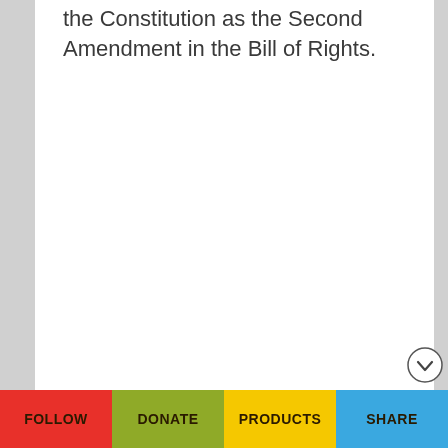the Constitution as the Second Amendment in the Bill of Rights.
FOLLOW  DONATE  PRODUCTS  SHARE